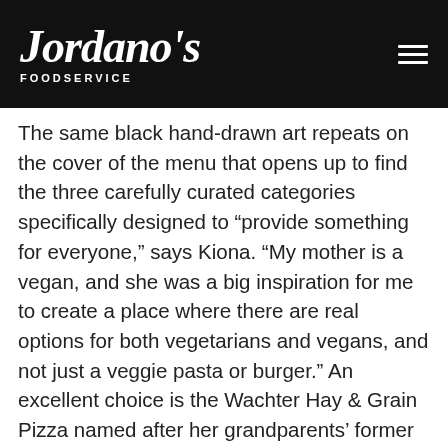[Figure (logo): Jordano's Foodservice logo in white script on black background with hamburger menu icon]
The same black hand-drawn art repeats on the cover of the menu that opens up to find the three carefully curated categories specifically designed to “provide something for everyone,” says Kiona. “My mother is a vegan, and she was a big inspiration for me to create a place where there are real options for both vegetarians and vegans, and not just a veggie pasta or burger.” An excellent choice is the Wachter Hay & Grain Pizza named after her grandparents’ former local feed store. It’s a thin and crispy crust pizza topped with hot melted vegan mozzarella cheese and seasonal vegetables.